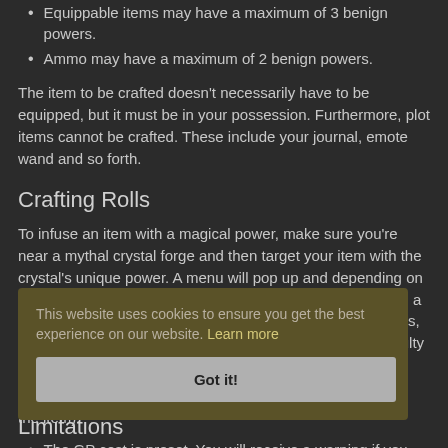Equippable items may have a maximum of 3 benign powers.
Ammo may have a maximum of 2 benign powers.
The item to be crafted doesn't necessarily have to be equipped, but it must be in your possession. Furthermore, plot items cannot be crafted. These include your journal, emote wand and so forth.
Crafting Rolls
To infuse an item with a magical power, make sure you're near a mythal crystal forge and then target your item with the crystal's unique power. A menu will pop up and depending on the power of the crystal (minor, divine, etc's) you'll be given a choice of powers to infuse. The menu will tell you the cost is, in gold pieces (GP), and it'll tell you what the crafting difficulty (DC) is that you must roll against to successfully infuse.
This will present you with the current number of powers on the item).
The GP cost is preset. You will receive a warning if you attempt to craft an item that requires your current hitdice to equip.
This website uses cookies to ensure you get the best experience on our website. Learn more
Got it!
Limitations